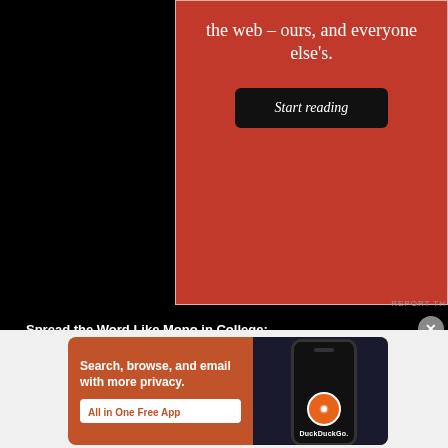[Figure (screenshot): Red advertisement banner with white serif text reading 'the web – ours, and everyone else's.' and a dark 'Start reading' button]
REPORT TH
Spread the Word Like Mono in College:
Email
Print
LinkedIn
Facebook
Reddit
P
Twitter
Tumblr
Like
Be the first to like this.
[Figure (screenshot): DuckDuckGo advertisement: orange background with bold white text 'Search, browse, and email with more privacy. All in One Free App' alongside a phone illustration showing the DuckDuckGo logo and wordmark]